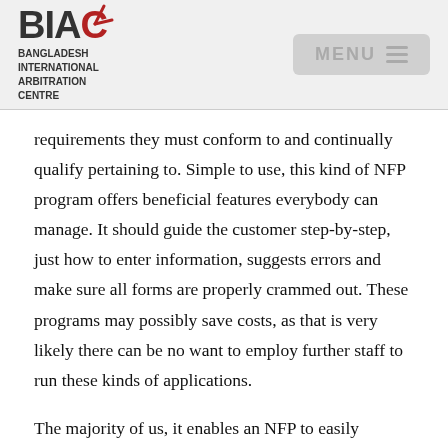BIAC BANGLADESH INTERNATIONAL ARBITRATION CENTRE
requirements they must conform to and continually qualify pertaining to. Simple to use, this kind of NFP program offers beneficial features everybody can manage. It should guide the customer step-by-step, just how to enter information, suggests errors and make sure all forms are properly crammed out. These programs may possibly save costs, as that is very likely there can be no want to employ further staff to run these kinds of applications.
The majority of us, it enables an NFP to easily operate the normal technique of having every employee be dressed in many hats and permit virtually any 1 help and carry out the necessary advanced accounting gracefully. This NFP software programs